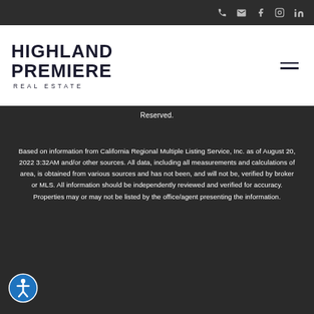Highland Premiere Real Estate — navigation bar with phone, email, facebook, instagram, linkedin icons
Reserved.
Based on information from California Regional Multiple Listing Service, Inc. as of August 20, 2022 3:32AM and/or other sources. All data, including all measurements and calculations of area, is obtained from various sources and has not been, and will not be, verified by broker or MLS. All information should be independently reviewed and verified for accuracy. Properties may or may not be listed by the office/agent presenting the information.